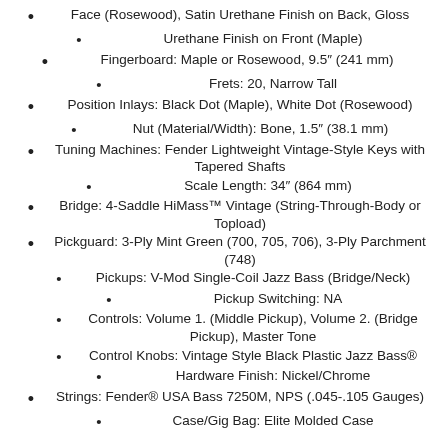Face (Rosewood), Satin Urethane Finish on Back, Gloss
Urethane Finish on Front (Maple)
Fingerboard: Maple or Rosewood, 9.5″ (241 mm)
Frets: 20, Narrow Tall
Position Inlays: Black Dot (Maple), White Dot (Rosewood)
Nut (Material/Width): Bone, 1.5″ (38.1 mm)
Tuning Machines: Fender Lightweight Vintage-Style Keys with Tapered Shafts
Scale Length: 34″ (864 mm)
Bridge: 4-Saddle HiMass™ Vintage (String-Through-Body or Topload)
Pickguard: 3-Ply Mint Green (700, 705, 706), 3-Ply Parchment (748)
Pickups: V-Mod Single-Coil Jazz Bass (Bridge/Neck)
Pickup Switching: NA
Controls: Volume 1. (Middle Pickup), Volume 2. (Bridge Pickup), Master Tone
Control Knobs: Vintage Style Black Plastic Jazz Bass®
Hardware Finish: Nickel/Chrome
Strings: Fender® USA Bass 7250M, NPS (.045-.105 Gauges)
Case/Gig Bag: Elite Molded Case